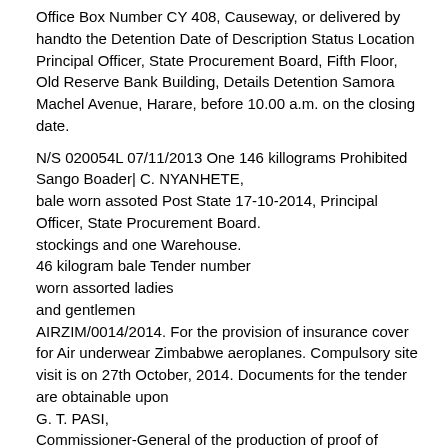Office Box Number CY 408, Causeway, or delivered by handto the Detention Date of Description Status Location Principal Officer, State Procurement Board, Fifth Floor, Old Reserve Bank Building, Details Detention Samora Machel Avenue, Harare, before 10.00 a.m. on the closing date.
N/S 020054L 07/11/2013 One 146 killograms Prohibited Sango Boader| C. NYANHETE, bale worn assoted Post State 17-10-2014, Principal Officer, State Procurement Board. stockings and one Warehouse. 46 kilogram bale Tender number worn assorted ladies and gentlemen AIRZIM/0014/2014. For the provision of insurance cover for Air underwear Zimbabwe aeroplanes. Compulsory site visit is on 27th October, 2014. Documents for the tender are obtainable upon G. T. PASI, Commissioner-General of the production of proof of paymentofa tenderfee of US$10,00 (ten USD) from Air Zimbabwe (Private) Limited, Harare 17-10-2014. Zimbabwe Revenue Authority.